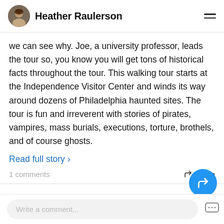Heather Raulerson
we can see why. Joe, a university professor, leads the tour so, you know you will get tons of historical facts throughout the tour. This walking tour starts at the Independence Visitor Center and winds its way around dozens of Philadelphia haunted sites. The tour is fun and irreverent with stories of pirates, vampires, mass burials, executions, torture, brothels, and of course ghosts.
Read full story >
1 comments   Share